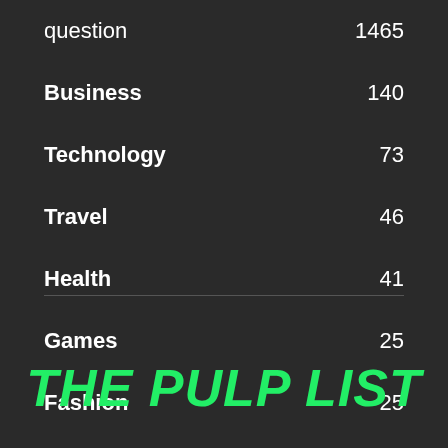question  1465
Business  140
Technology  73
Travel  46
Health  41
Games  25
Fashion  25
Home decor  24
THE PULP LIST